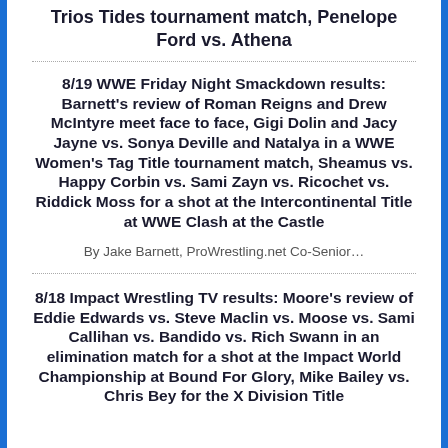Trios Tides tournament match, Penelope Ford vs. Athena
8/19 WWE Friday Night Smackdown results: Barnett's review of Roman Reigns and Drew McIntyre meet face to face, Gigi Dolin and Jacy Jayne vs. Sonya Deville and Natalya in a WWE Women's Tag Title tournament match, Sheamus vs. Happy Corbin vs. Sami Zayn vs. Ricochet vs. Riddick Moss for a shot at the Intercontinental Title at WWE Clash at the Castle
By Jake Barnett, ProWrestling.net Co-Senior…
8/18 Impact Wrestling TV results: Moore's review of Eddie Edwards vs. Steve Maclin vs. Moose vs. Sami Callihan vs. Bandido vs. Rich Swann in an elimination match for a shot at the Impact World Championship at Bound For Glory, Mike Bailey vs. Chris Bey for the X Division Title